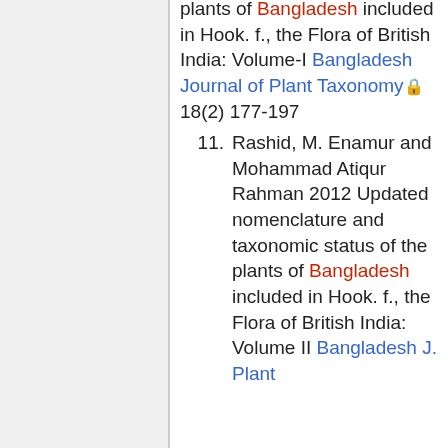plants of Bangladesh included in Hook. f., the Flora of British India: Volume-I Bangladesh Journal of Plant Taxonomy 18(2) 177-197
11. Rashid, M. Enamur and Mohammad Atiqur Rahman 2012 Updated nomenclature and taxonomic status of the plants of Bangladesh included in Hook. f., the Flora of British India: Volume II Bangladesh J. Plant